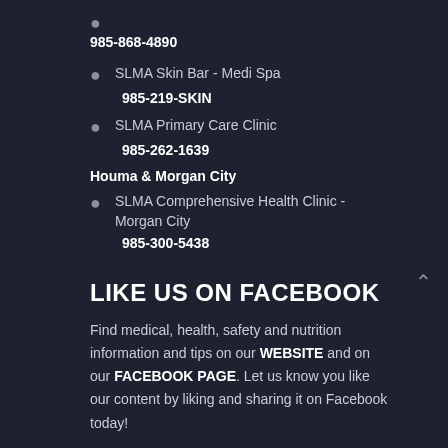985-868-4890
SLMA Skin Bar - Medi Spa
985-219-SKIN
SLMA Primary Care Clinic
985-262-1639
Houma & Morgan City
SLMA Comprehensive Health Clinic - Morgan City
985-300-5438
LIKE US ON FACEBOOK
Find medical, health, safety and nutrition information and tips on our WEBSITE and on our FACEBOOK PAGE. Let us know you like our content by liking and sharing it on Facebook today!
Recent News and Health Tips
TERRY DELORD, MD, RECEIVES PHYSICIAN SUMMIT